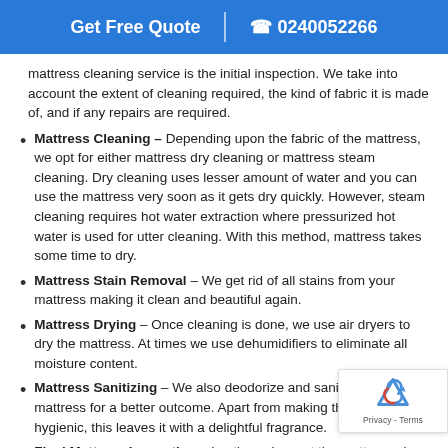Get Free Quote | 0240052266
mattress cleaning service is the initial inspection. We take into account the extent of cleaning required, the kind of fabric it is made of, and if any repairs are required.
Mattress Cleaning – Depending upon the fabric of the mattress, we opt for either mattress dry cleaning or mattress steam cleaning. Dry cleaning uses lesser amount of water and you can use the mattress very soon as it gets dry quickly. However, steam cleaning requires hot water extraction where pressurized hot water is used for utter cleaning. With this method, mattress takes some time to dry.
Mattress Stain Removal – We get rid of all stains from your mattress making it clean and beautiful again.
Mattress Drying – Once cleaning is done, we use air dryers to dry the mattress. At times we use dehumidifiers to eliminate all moisture content.
Mattress Sanitizing – We also deodorize and sanitize the mattress for a better outcome. Apart from making the mattress hygienic, this leaves it with a delightful fragrance.
Final Mattress Inspection – Lastly we inspect the mattress along